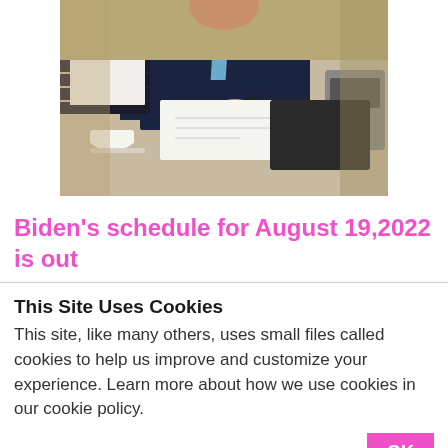[Figure (photo): A man in a dark suit and blue tie signing documents at a desk, with stacked binders and a coffee cup visible]
Biden's schedule for August 19,2022 is out
This Site Uses Cookies
This site, like many others, uses small files called cookies to help us improve and customize your experience. Learn more about how we use cookies in our cookie policy.